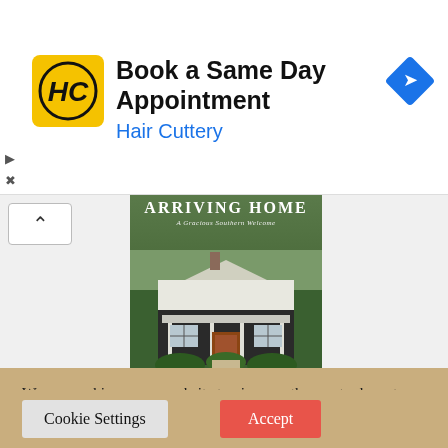[Figure (advertisement): Hair Cuttery ad banner with yellow logo showing HC letters, text 'Book a Same Day Appointment' and 'Hair Cuttery' in blue, blue diamond navigation icon on right]
[Figure (photo): Book cover titled 'ARRIVING HOME - A Gracious Southern Welcome' showing a white and dark wood Southern-style house with porch, surrounded by trees and shrubs]
We use cookies on our website to give you the most relevant experience by remembering your preferences and repeat visits. By clicking “Accept”, you consent to the use of ALL the cookies.
Do not sell my personal information.
Cookie Settings
Accept